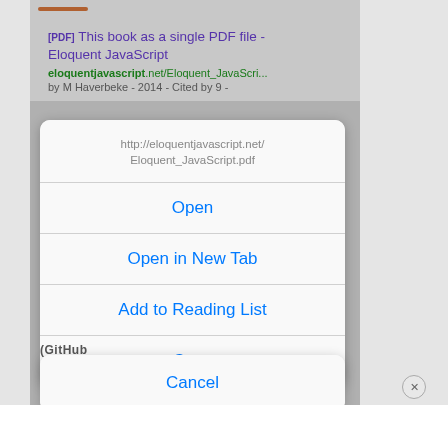[Figure (screenshot): iOS Safari context menu screenshot showing a long-press action sheet on a Google search result link for 'This book as a single PDF file - Eloquent JavaScript'. The action sheet shows the URL http://eloquentjavascript.net/Eloquent_JavaScript.pdf with options: Open, Open in New Tab, Add to Reading List, Copy, and a separate Cancel button below.]